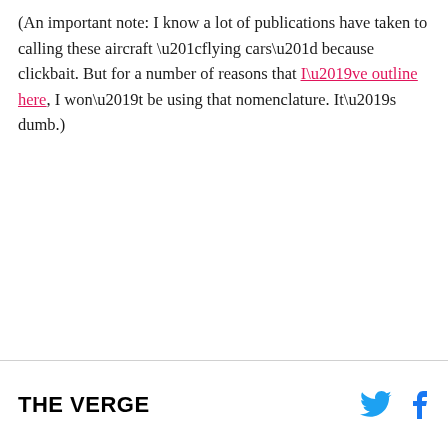(An important note: I know a lot of publications have taken to calling these aircraft “flying cars” because clickbait. But for a number of reasons that I’ve outline here, I won’t be using that nomenclature. It’s dumb.)
THE VERGE